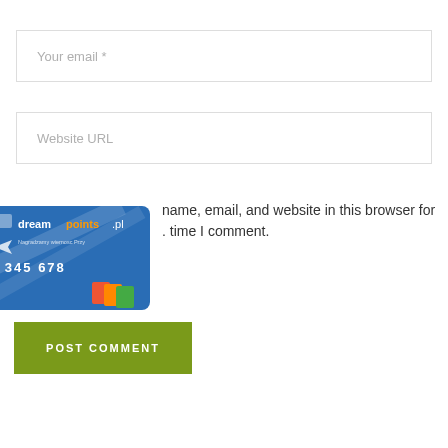Your email *
Website URL
[Figure (illustration): Dreampoints.pl loyalty card image, blue card with white diagonal lines and text '2 345 678', with small colorful cards in bottom right corner]
name, email, and website in this browser for the time I comment.
POST COMMENT